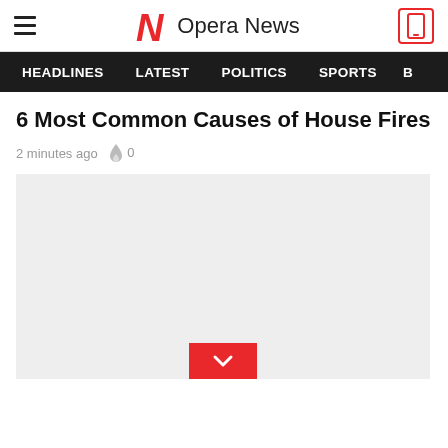Opera News
HEADLINES  LATEST  POLITICS  SPORTS  B
6 Most Common Causes of House Fires
2 minutes ago  🔥 0
[Figure (photo): Gray placeholder image for article about house fires, with a red chevron/down-arrow button at the bottom center]